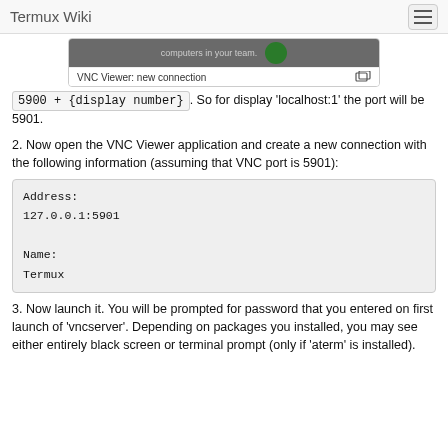Termux Wiki
[Figure (screenshot): Screenshot showing VNC Viewer new connection dialog with dark grey banner area showing 'computers in your team.' text and a green button, and below it 'VNC Viewer: new connection' label with a copy icon]
5900 + {display number}. So for display 'localhost:1' the port will be 5901.
2. Now open the VNC Viewer application and create a new connection with the following information (assuming that VNC port is 5901):
Address:
127.0.0.1:5901

Name:
Termux
3. Now launch it. You will be prompted for password that you entered on first launch of 'vncserver'. Depending on packages you installed, you may see either entirely black screen or terminal prompt (only if 'aterm' is installed).